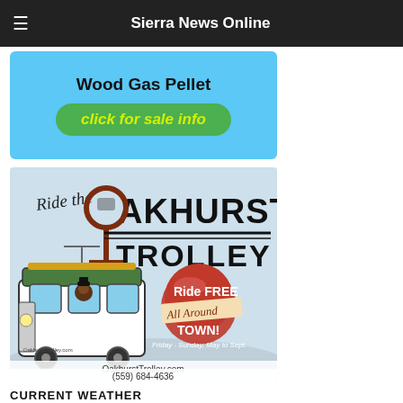Sierra News Online
[Figure (advertisement): Wood Gas Pellet advertisement with blue background and green 'click for sale info' button]
[Figure (advertisement): Ride the Oakhurst Trolley advertisement showing a trolley illustration. Ride FREE All Around TOWN! Friday - Sunday, May to Sept. OakhurstTrolley.com (559) 684-4636]
CURRENT WEATHER